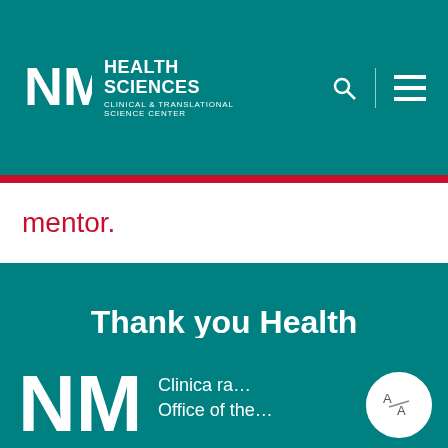[Figure (logo): UNM Health Sciences Clinical & Translational Science Center logo in white on teal header, with search and menu icons]
mentor.
Thank you Health Hackathon Sponsors and Partners
[Figure (logo): UNM NM logo in white at the bottom teal section, with text 'Clinical...ra... Office of the...' partially visible, and a translate badge overlay]